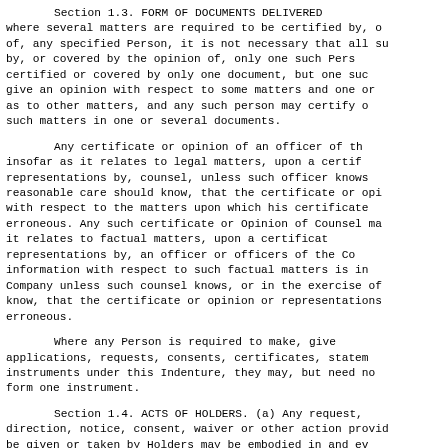Section 1.3. FORM OF DOCUMENTS DELIVERED where several matters are required to be certified by, of, any specified Person, it is not necessary that all su by, or covered by the opinion of, only one such Pers certified or covered by only one document, but one suc give an opinion with respect to some matters and one or as to other matters, and any such person may certify o such matters in one or several documents.
Any certificate or opinion of an officer of th insofar as it relates to legal matters, upon a certifi representations by, counsel, unless such officer knows reasonable care should know, that the certificate or opi with respect to the matters upon which his certificate erroneous. Any such certificate or Opinion of Counsel ma it relates to factual matters, upon a certificat representations by, an officer or officers of the Co information with respect to such factual matters is in Company unless such counsel knows, or in the exercise of know, that the certificate or opinion or representations erroneous.
Where any Person is required to make, give applications, requests, consents, certificates, statem instruments under this Indenture, they may, but need no form one instrument.
Section 1.4. ACTS OF HOLDERS. (a) Any request, direction, notice, consent, waiver or other action provid be given or taken by Holders may be embodied in and ev